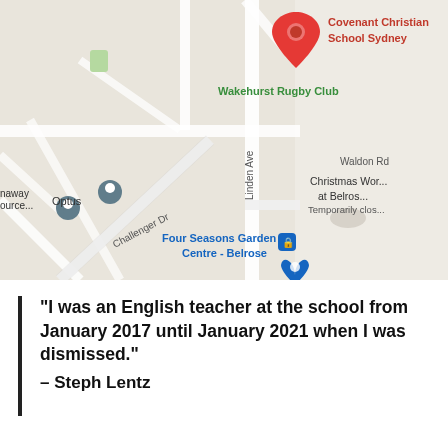[Figure (map): Google Maps screenshot showing the area around Covenant Christian School Sydney in Belrose, NSW. A red map pin marks the school location. Visible labels include: Covenant Christian School Sydney (red pin), Wakehurst Rugby Club (green text), Waldon Rd, Christmas Wor... at Belros... Temporarily clos..., Challenger Dr, Linden Ave, naway ...ource... (with grey pin), Optus (with grey pin), Four Seasons Garden Centre - Belrose (blue pin). Right portion of map is greyed out.]
“I was an English teacher at the school from January 2017 until January 2021 when I was dismissed.”
– Steph Lentz